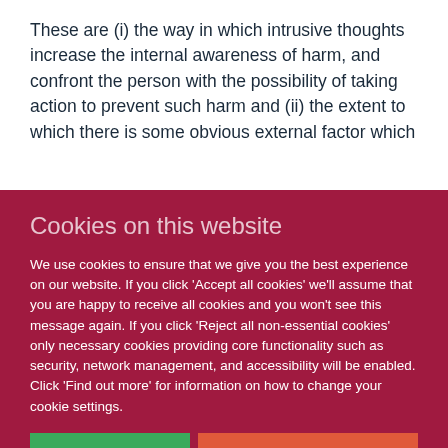These are (i) the way in which intrusive thoughts increase the internal awareness of harm, and confront the person with the possibility of taking action to prevent such harm and (ii) the extent to which there is some obvious external factor which
Cookies on this website
We use cookies to ensure that we give you the best experience on our website. If you click 'Accept all cookies' we'll assume that you are happy to receive all cookies and you won't see this message again. If you click 'Reject all non-essential cookies' only necessary cookies providing core functionality such as security, network management, and accessibility will be enabled. Click 'Find out more' for information on how to change your cookie settings.
Accept all cookies
Reject all non-essential cookies
Find out more